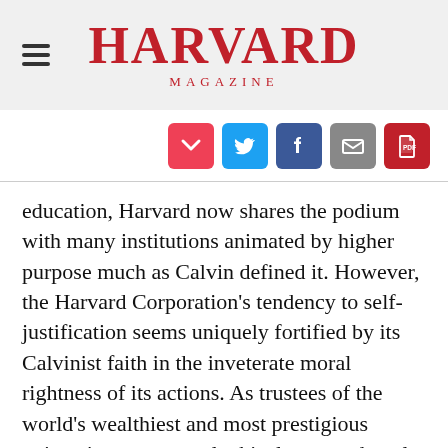HARVARD MAGAZINE
[Figure (infographic): Social sharing icons: Pocket (red), Twitter (blue), Facebook (dark blue), Email (grey), PDF (red)]
education, Harvard now shares the podium with many institutions animated by higher purpose much as Calvin defined it. However, the Harvard Corporation’s tendency to self-justification seems uniquely fortified by its Calvinist faith in the inveterate moral rightness of its actions. As trustees of the world’s wealthiest and most prestigious university, no external ethical test need apply, and if in our capacity as moral stewards we seek evidence of God’s approval, we need only look to Harvard’s vast endowment, and its pre-eminent